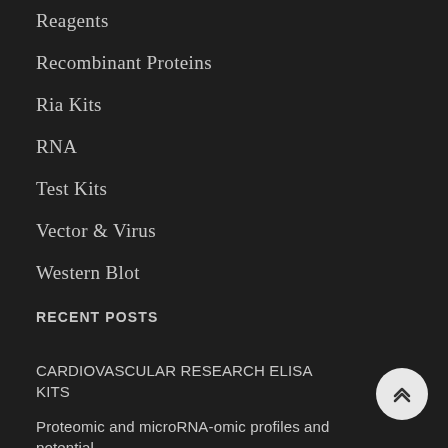Reagents
Recombinant Proteins
Ria Kits
RNA
Test Kits
Vector & Virus
Western Blot
RECENT POSTS
CARDIOVASCULAR RESEARCH ELISA KITS
Proteomic and microRNA-omic profiles and potential